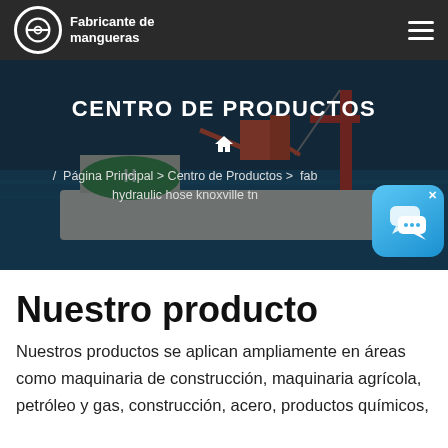Fabricante de mangueras
[Figure (photo): Offshore oil platform/ship hero banner image with dark overlay]
CENTRO DE PRODUCTOS
/ Página Principal > Centro de Productos > fab hydraulic hose knoxville tn
[Figure (illustration): Chat widget icon — blue rounded square with speech bubbles]
Nuestro producto
Nuestros productos se aplican ampliamente en áreas como maquinaria de construcción, maquinaria agrícola, petróleo y gas, construcción, acero, productos químicos,